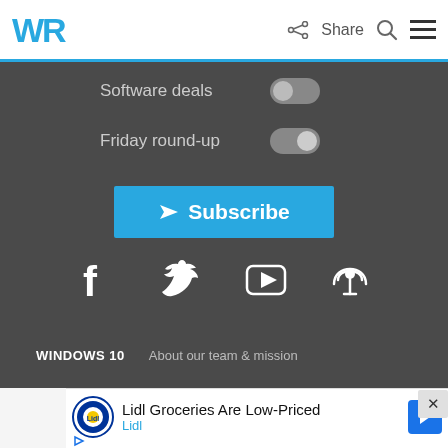WR | Share
Software deals (toggle off)
Friday round-up (toggle on)
Subscribe
[Figure (screenshot): Social media icons: Facebook, Twitter, YouTube, Podcast/RSS]
WINDOWS 10   About our team & mission
[Figure (screenshot): Advertisement: Lidl Groceries Are Low-Priced - Lidl]
[Figure (screenshot): Close button (x)]